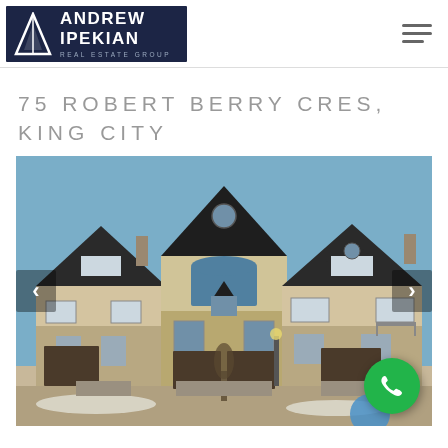[Figure (logo): Andrew Ipekian Real Estate Group logo — white text on dark navy background with stylized A triangle mark]
75 ROBERT BERRY CRES, KING CITY
[Figure (photo): Exterior photo of a large two-storey stone and stucco residential home with three-car garage, blue sky background, winter season. Navigation arrows on left and right sides. Green phone call button in bottom right corner.]